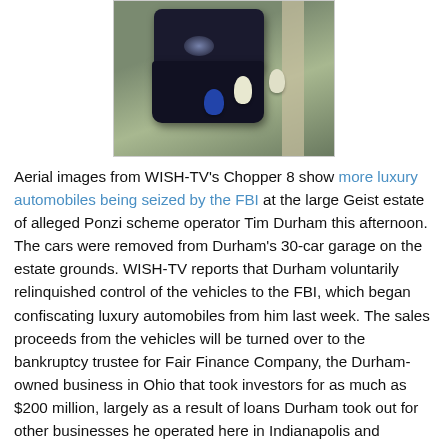[Figure (photo): Aerial image from WISH-TV's Chopper 8 showing luxury automobiles being loaded/seized by FBI agents at Tim Durham's Geist estate. Dark vehicles on pavement with people around them, green grass visible.]
Aerial images from WISH-TV's Chopper 8 show more luxury automobiles being seized by the FBI at the large Geist estate of alleged Ponzi scheme operator Tim Durham this afternoon. The cars were removed from Durham's 30-car garage on the estate grounds. WISH-TV reports that Durham voluntarily relinquished control of the vehicles to the FBI, which began confiscating luxury automobiles from him last week. The sales proceeds from the vehicles will be turned over to the bankruptcy trustee for Fair Finance Company, the Durham-owned business in Ohio that took investors for as much as $200 million, largely as a result of loans Durham took out for other businesses he operated here in Indianapolis and elsewhere and did not repay to the Ohio company.